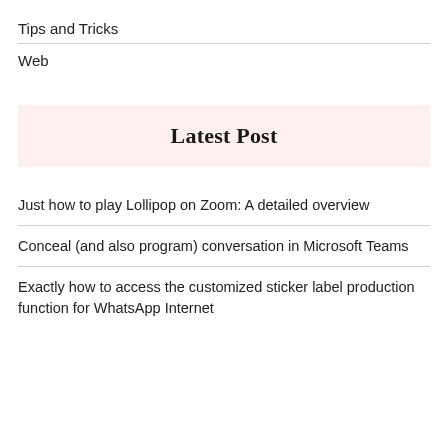Tips and Tricks
Web
Latest Post
Just how to play Lollipop on Zoom: A detailed overview
Conceal (and also program) conversation in Microsoft Teams
Exactly how to access the customized sticker label production function for WhatsApp Internet